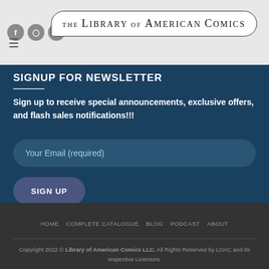[Figure (logo): The Library of American Comics logo in a speech bubble, with social media icons (Facebook, Instagram, Twitter) and a hamburger menu icon]
SIGNUP FOR NEWSLETTER
Sign up to receive special announcements, exclusive offers, and flash sales notifications!!!
Your Email (required)
SIGN UP
HOME  COMPLETE CATALOGUE  BLOG  PODCAST  ABOUT
Copyright 2022 © Library of American Comics LLC. All Rights Reserved by LOAC and its respective Licensors.